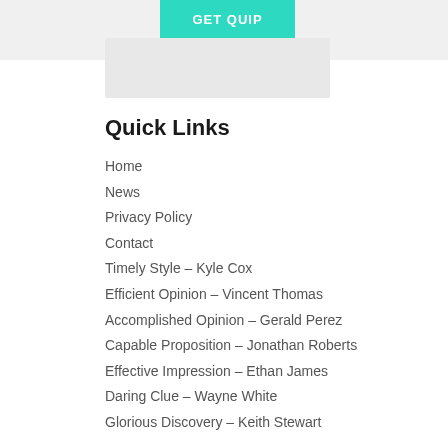[Figure (other): GET QUIP button with teal/turquoise background and white bold text]
Quick Links
Home
News
Privacy Policy
Contact
Timely Style – Kyle Cox
Efficient Opinion – Vincent Thomas
Accomplished Opinion – Gerald Perez
Capable Proposition – Jonathan Roberts
Effective Impression – Ethan James
Daring Clue – Wayne White
Glorious Discovery – Keith Stewart